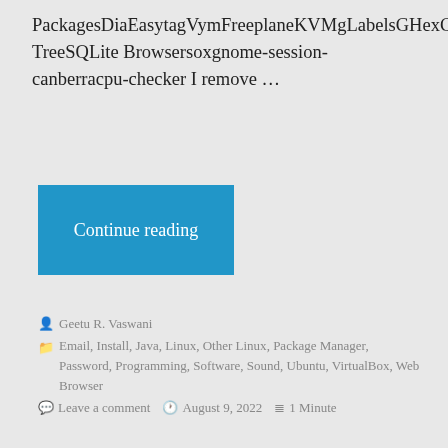PackagesDiaEasytagVymFreeplaneKVMgLabelsGHexGkRellmGnucashGtkHashKeepassxSupertuxkartSupertuxOpenarenaRedshiftVLCXournalCherry TreeSQLite Browsersoxgnome-session-canberracpu-checker I remove …
[Figure (other): Blue 'Continue reading' button]
Geetu R. Vaswani
Email, Install, Java, Linux, Other Linux, Package Manager, Password, Programming, Software, Sound, Ubuntu, VirtualBox, Web Browser
Leave a comment  August 9, 2022  1 Minute